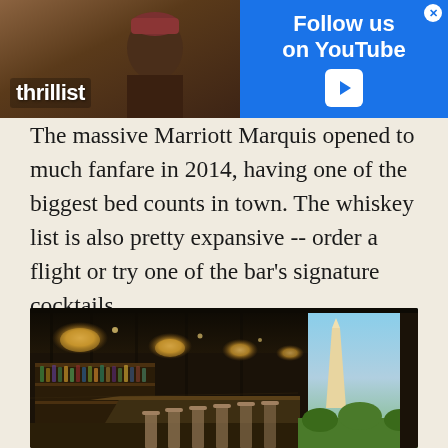[Figure (photo): Thrillist advertisement banner — Follow us on YouTube, showing a person with a maroon hat at left and blue YouTube branding at right]
The massive Marriott Marquis opened to much fanfare in 2014, having one of the biggest bed counts in town. The whiskey list is also pretty expansive -- order a flight or try one of the bar's signature cocktails.
[Figure (photo): Interior photo of a rooftop bar at the Marriott Marquis with warm pendant lights, a long bar counter with stools, liquor bottles on shelves, and a view of the Washington Monument at dusk in the background]